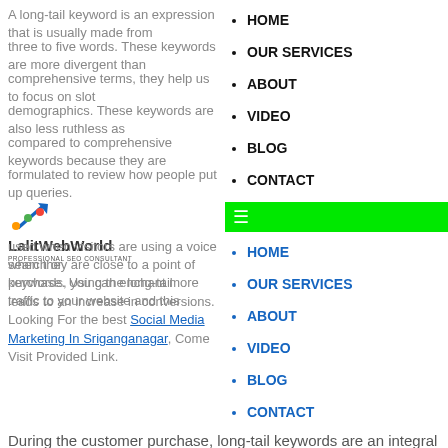HOME
A long-tail keyword is an expression that is usually made from
OUR SERVICES
three to five words. These keywords are more divergent than
ABOUT
comprehensive terms, they help us to focus on slot
VIDEO
demographics. These keywords are also less ruthless as
BLOG
compared to comprehensive keywords because they are
CONTACT
formulated to review how people put up queries.
[Figure (logo): LalitWebWorld logo with arrow and dots, text 'LalitWebWorld PROFESSIONAL SEO CONSULTANT']
[Figure (other): Green navigation bar with hamburger menu icon]
used when visitors are using a voice search or
HOME
when they are close to a point of purchase. Using the long-tail
OUR SERVICES
keywords, you can enchant more traffic to your website and this
ABOUT
leads to an increase in conversions. Looking For the best Social Media Marketing In Sriganganagar, Come Visit Provided Link.
VIDEO
BLOG
CONTACT
During the customer purchase, long-tail keywords are an integral part of the evolving journey. Usually, users do search on the browser and as the search engine leads them to the final point, their queries become more comprehensive. This is the point where you can distinguish your domain from the competition because